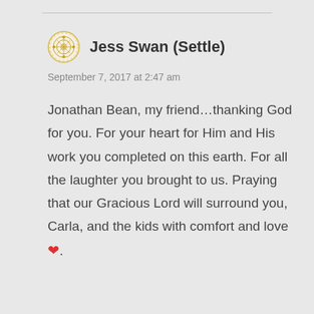Jess Swan (Settle)
September 7, 2017 at 2:47 am
Jonathan Bean, my friend…thanking God for you. For your heart for Him and His work you completed on this earth. For all the laughter you brought to us. Praying that our Gracious Lord will surround you, Carla, and the kids with comfort and love ❤.